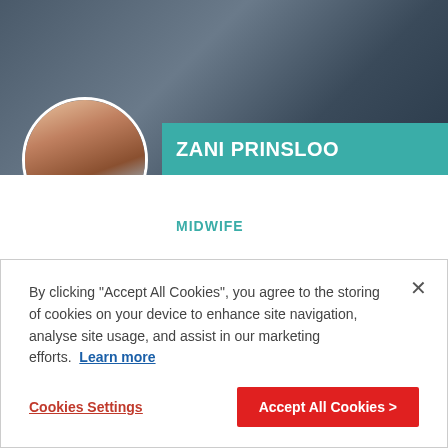[Figure (photo): Hero photo at top of article showing person holding baby, dark street scene background]
ZANI PRINSLOO
MIDWIFE
Lebanon: New Life In The Shadow Of War
Since the start of the Syrian war, around a million refugees have fled into Lebanon.
24 MAR 2017 / 5 MINUTE READ
By clicking "Accept All Cookies", you agree to the storing of cookies on your device to enhance site navigation, analyse site usage, and assist in our marketing efforts. Learn more
Cookies Settings
Accept All Cookies >